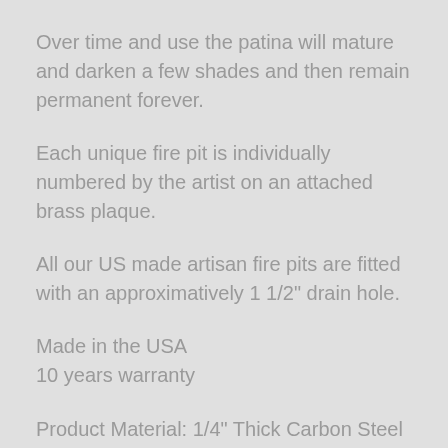Over time and use the patina will mature and darken a few shades and then remain permanent forever.
Each unique fire pit is individually numbered by the artist on an attached brass plaque.
All our US made artisan fire pits are fitted with an approximatively 1 1/2" drain hole.
Made in the USA
10 years warranty
Product Material: 1/4" Thick Carbon Steel
Product Finish: Iron Oxide